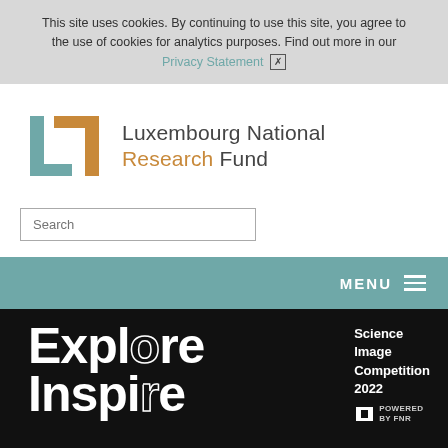This site uses cookies. By continuing to use this site, you agree to the use of cookies for analytics purposes. Find out more in our Privacy Statement ✕
[Figure (logo): Luxembourg National Research Fund logo — teal and gold bracket-like L shape]
Luxembourg National Research Fund
Search
MENU ≡
[Figure (screenshot): Hero banner with black background, large white bold text 'Explore Inspire' and sidebar text 'Science Image Competition 2022 Powered by FNR']